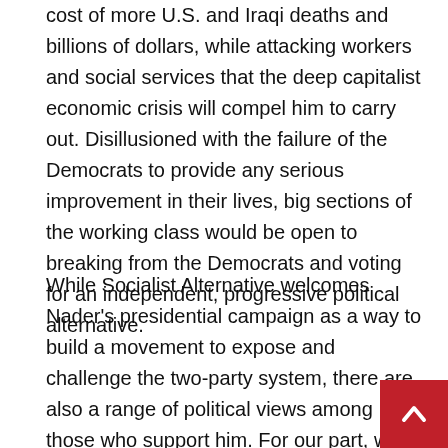cost of more U.S. and Iraqi deaths and billions of dollars, while attacking workers and social services that the deep capitalist economic crisis will compel him to carry out. Disillusioned with the failure of the Democrats to provide any serious improvement in their lives, big sections of the working class would be open to breaking from the Democrats and voting for an independent, progressive political alternative.
While Socialist Alternative welcomes Nader's presidential campaign as a way to build a movement to expose and challenge the two-party system, there are also a range of political views among those who support him. For our part, we do not want to see a “reformed” Democratic Party or simply more “choices” within the framework of corporate politics. Rather, we want to see the creation of a new political party based on the interests of workers, young people and the poor that will defend the millions against the